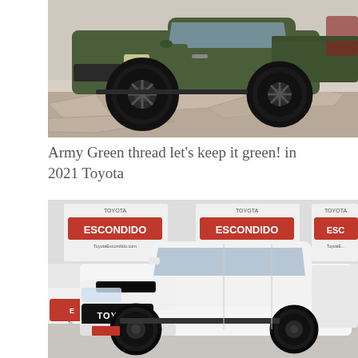[Figure (photo): Army green Toyota Tacoma TRD truck with black off-road wheels and large all-terrain tires, parked on stone pavement outdoors.]
Army Green thread let’s keep it green! in 2021 Toyota
[Figure (photo): White Toyota Tundra TRD truck parked indoors in front of Toyota Escondido dealership banners.]